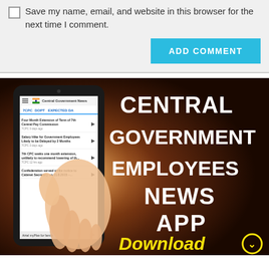Save my name, email, and website in this browser for the next time I comment.
[Figure (screenshot): A blue 'ADD COMMENT' button on a light gray form background]
[Figure (infographic): Central Government Employees News App advertisement banner showing a smartphone with a news app and bold white text reading CENTRAL GOVERNMENT EMPLOYEES NEWS APP with a yellow Download button]